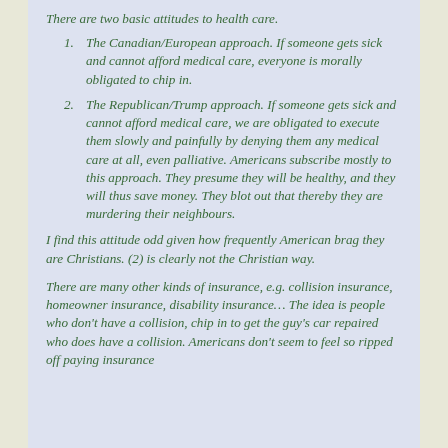There are two basic attitudes to health care.
The Canadian/European approach. If someone gets sick and cannot afford medical care, everyone is morally obligated to chip in.
The Republican/Trump approach. If someone gets sick and cannot afford medical care, we are obligated to execute them slowly and painfully by denying them any medical care at all, even palliative. Americans subscribe mostly to this approach. They presume they will be healthy, and they will thus save money. They blot out that thereby they are murdering their neighbours.
I find this attitude odd given how frequently American brag they are Christians. (2) is clearly not the Christian way.
There are many other kinds of insurance, e.g. collision insurance, homeowner insurance, disability insurance… The idea is people who don't have a collision, chip in to get the guy's car repaired who does have a collision. Americans don't seem to feel so ripped off paying insurance